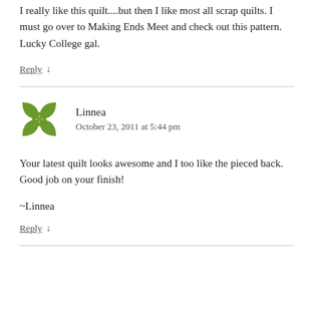I really like this quilt....but then I like most all scrap quilts. I must go over to Making Ends Meet and check out this pattern. Lucky College gal.
Reply ↓
Linnea
October 23, 2011 at 5:44 pm
Your latest quilt looks awesome and I too like the pieced back. Good job on your finish!

~Linnea
Reply ↓